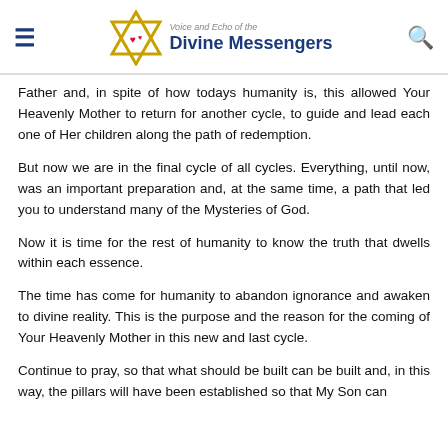Voice and Echo of the Divine Messengers
Father and, in spite of how todays humanity is, this allowed Your Heavenly Mother to return for another cycle, to guide and lead each one of Her children along the path of redemption.
But now we are in the final cycle of all cycles. Everything, until now, was an important preparation and, at the same time, a path that led you to understand many of the Mysteries of God.
Now it is time for the rest of humanity to know the truth that dwells within each essence.
The time has come for humanity to abandon ignorance and awaken to divine reality. This is the purpose and the reason for the coming of Your Heavenly Mother in this new and last cycle.
Continue to pray, so that what should be built can be built and, in this way, the pillars will have been established so that My Son can